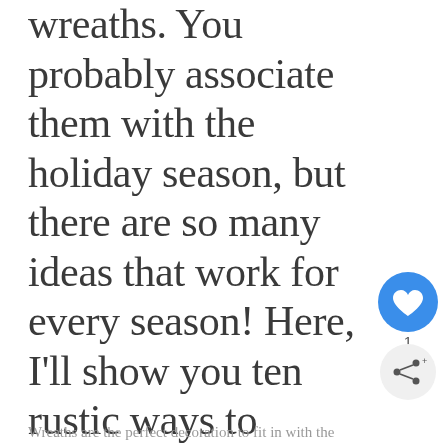wreaths. You probably associate them with the holiday season, but there are so many ideas that work for every season! Here, I'll show you ten rustic ways to decorate your front door with farmhouse wreaths.
Wreaths are the perfect decoration to fit in with the